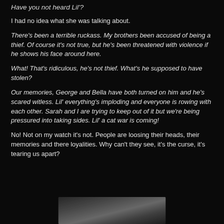Have you not heard Lil'?
I had no idea what she was talking about.
There's been a terrible ruckass. My brothers been accused of being a thief. Of course it's not true, but he's been threatened with violence if he shows his face around here.
What! That's ridiculous, he's not thief. What's he supposed to have stolen?
Our memories, George and Bella have both turned on him and he's scared witless. Lil' everything's imploding and everyone is rowing with each other. Sarah and I are trying to keep out of it but we're being pressured into taking sides. Lil' a cat war is coming!
No! Not on my watch it's not. People are loosing their heads, their memories and there loyalities. Why can't they see, it's the curse, it's tearing us apart?
[Figure (photo): Dark grayscale photograph strip at bottom of page]